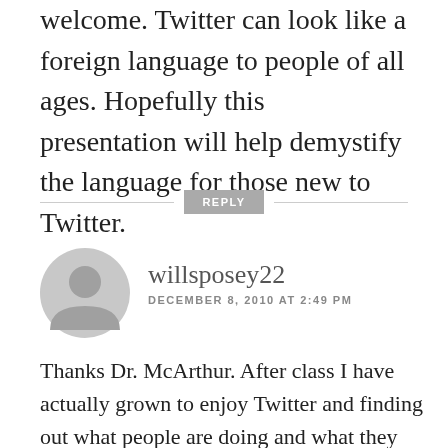welcome. Twitter can look like a foreign language to people of all ages. Hopefully this presentation will help demystify the language for those new to Twitter.
REPLY
willsposey22
DECEMBER 8, 2010 AT 2:49 PM
Thanks Dr. McArthur. After class I have actually grown to enjoy Twitter and finding out what people are doing and what they are thinking. It is weird to think about what other people could be doing all